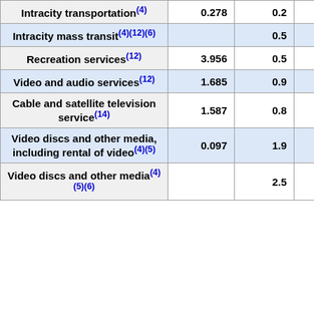| Item | Col1 | Col2 | Col3 |
| --- | --- | --- | --- |
| Intracity transportation(4) | 0.278 | 0.2 | 0.00 |
| Intracity mass transit(4)(12)(6) |  | 0.5 |  |
| Recreation services(12) | 3.956 | 0.5 | 0.02 |
| Video and audio services(12) | 1.685 | 0.9 | 0.01 |
| Cable and satellite television service(14) | 1.587 | 0.8 | 0.01 |
| Video discs and other media, including rental of video(4)(5) | 0.097 | 1.9 | 0.00 |
| Video discs and other media(4)(5)(6) |  | 2.5 |  |